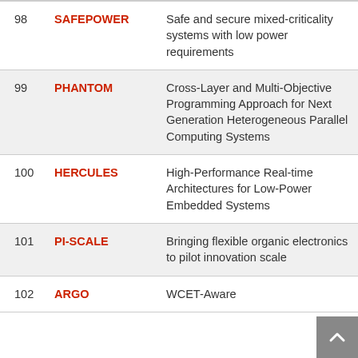| # | Name | Description |
| --- | --- | --- |
| 98 | SAFEPOWER | Safe and secure mixed-criticality systems with low power requirements |
| 99 | PHANTOM | Cross-Layer and Multi-Objective Programming Approach for Next Generation Heterogeneous Parallel Computing Systems |
| 100 | HERCULES | High-Performance Real-time Architectures for Low-Power Embedded Systems |
| 101 | PI-SCALE | Bringing flexible organic electronics to pilot innovation scale |
| 102 | ARGO | WCET-Aware |